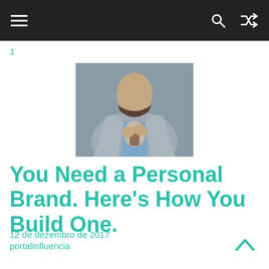Navigation bar with hamburger menu, search and shuffle icons
1
[Figure (photo): A man in a grey blazer and blue shirt adjusting his tie, photographed from chest level]
You Need a Personal Brand. Here’s How You Build One.
12 de dezembro de 2017
portalinfluencia